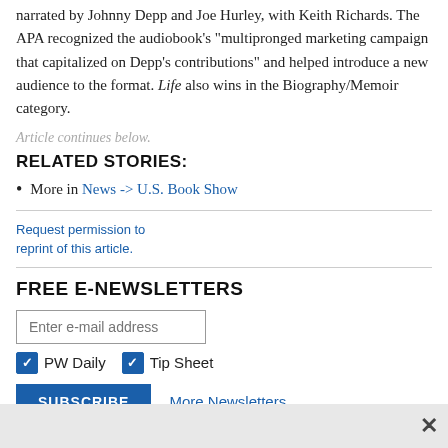narrated by Johnny Depp and Joe Hurley, with Keith Richards. The APA recognized the audiobook's "multipronged marketing campaign that capitalized on Depp's contributions" and helped introduce a new audience to the format. Life also wins in the Biography/Memoir category.
Article continues below.
RELATED STORIES:
More in News -> U.S. Book Show
Request permission to reprint of this article.
FREE E-NEWSLETTERS
Enter e-mail address
PW Daily  Tip Sheet
SUBSCRIBE  More Newsletters